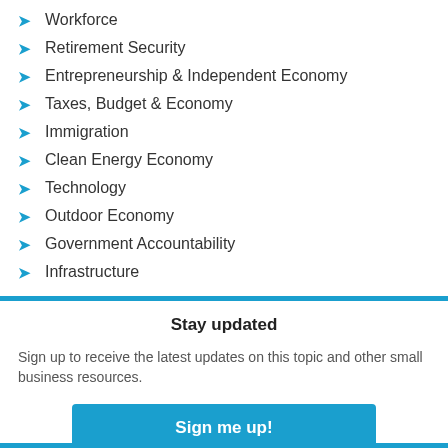Workforce
Retirement Security
Entrepreneurship & Independent Economy
Taxes, Budget & Economy
Immigration
Clean Energy Economy
Technology
Outdoor Economy
Government Accountability
Infrastructure
Stay updated
Sign up to receive the latest updates on this topic and other small business resources.
Sign me up!